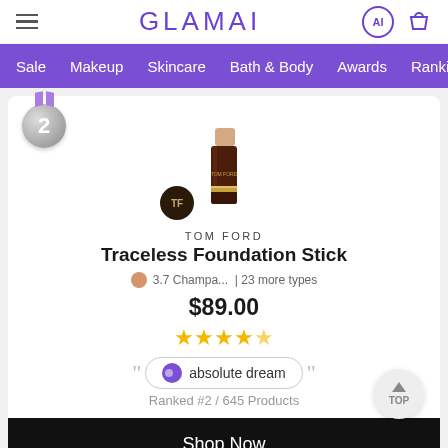GLAMAI
Sale  Makeup  Skincare  Bath & Body  Awards  Rankings
[Figure (screenshot): Tom Ford Traceless Foundation Stick product card with #2 silver medal badge, product image of foundation stick, brand logo badge, brand name TOM FORD, product name Traceless Foundation Stick, shade 3.7 Champa... | 23 more types, price $89.00, 4.5 star rating, AI review badge saying 'absolute dream', ranked #2 / 645 Products, and Shop Now button]
TOM FORD
Traceless Foundation Stick
3.7 Champa...  | 23 more types
$89.00
★★★★★
absolute dream
Ranked #2 / 645 Products